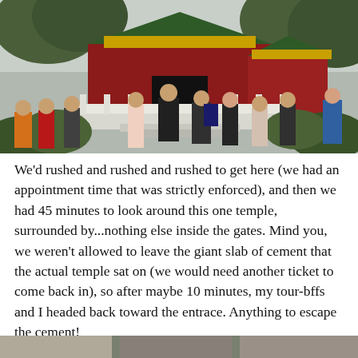[Figure (photo): Tourists walking in front of a traditional Chinese temple building with red walls and ornate roof, white marble balustrades and steps, surrounded by green trees and bushes. Multiple people in colorful clothing visible.]
We'd rushed and rushed and rushed to get here (we had an appointment time that was strictly enforced), and then we had 45 minutes to look around this one temple, surrounded by...nothing else inside the gates. Mind you, we weren't allowed to leave the giant slab of cement that the actual temple sat on (we would need another ticket to come back in), so after maybe 10 minutes, my tour-bffs and I headed back toward the entrace. Anything to escape the cement!
[Figure (photo): Partial view of another photo at the bottom of the page, cut off.]